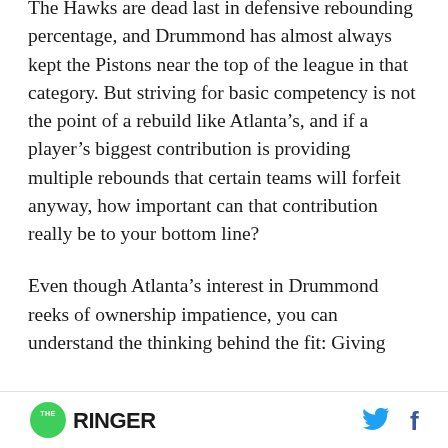The Hawks are dead last in defensive rebounding percentage, and Drummond has almost always kept the Pistons near the top of the league in that category. But striving for basic competency is not the point of a rebuild like Atlanta's, and if a player's biggest contribution is providing multiple rebounds that certain teams will forfeit anyway, how important can that contribution really be to your bottom line?
Even though Atlanta's interest in Drummond reeks of ownership impatience, you can understand the thinking behind the fit: Giving
[Figure (logo): The Ringer logo with green circle and social media icons (Twitter bird, Facebook f)]